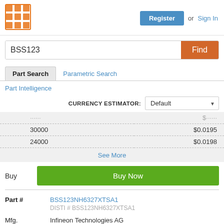[Figure (logo): Orange grid/matrix logo icon]
Register or Sign In
BSS123
Find
Part Search
Parametric Search
Part Intelligence
CURRENCY ESTIMATOR: Default
| Qty | Price |
| --- | --- |
| 30000 | $0.0195 |
| 24000 | $0.0198 |
See More
Buy
Buy Now
Part #
BSS123NH6327XTSA1
DISTI # BSS123NH6327XTSA1
Mfg.
Infineon Technologies AG
Description